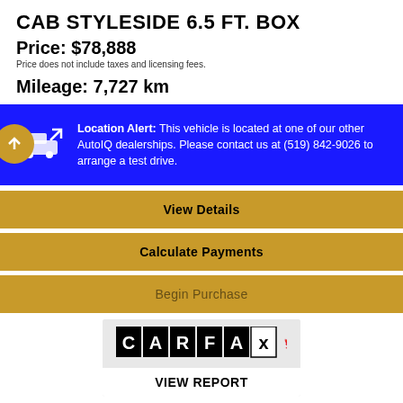CAB STYLESIDE 6.5 FT. BOX
Price: $78,888
Price does not include taxes and licensing fees.
Mileage: 7,727 km
Location Alert: This vehicle is located at one of our other AutoIQ dealerships. Please contact us at (519) 842-9026 to arrange a test drive.
View Details
Calculate Payments
Begin Purchase
[Figure (logo): CARFAX Canada logo with maple leaf]
VIEW REPORT
[Figure (logo): Good Deal badge with green circle and arrow]